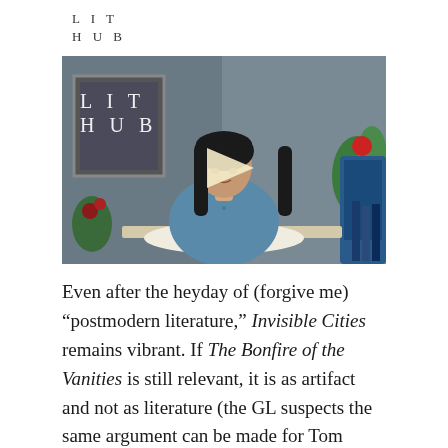LIT
HUB
[Figure (screenshot): Video thumbnail showing a woman with dark hair reading a book at a table, with a LIT HUB logo overlay and a play button in the center. Background shows a room with plants and decorations.]
Even after the heyday of (forgive me) “postmodern literature,” Invisible Cities remains vibrant. If The Bonfire of the Vanities is still relevant, it is as artifact and not as literature (the GL suspects the same argument can be made for Tom Wolfe). So the GL is going to assume